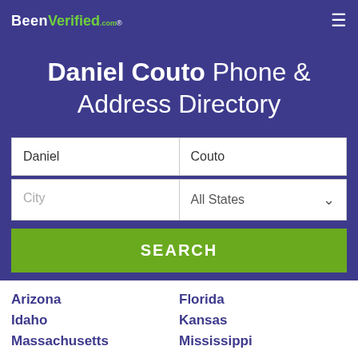BeenVerified.com
Daniel Couto Phone & Address Directory
First name: Daniel, Last name: Couto, City, All States
SEARCH
Arizona
Florida
Idaho
Kansas
Massachusetts
Mississippi